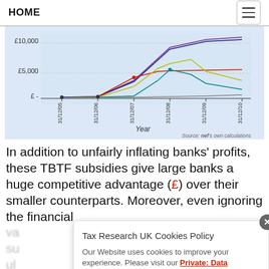HOME
[Figure (line-chart): Multi-line chart showing values in £ from 31/12/05 to 31/12/10, with y-axis showing £-, £5,000, £10,000. Multiple colored lines (red, purple, dark blue, yellow-green, teal, grey) showing diverging trends over time.]
In addition to unfairly inflating banks' profits, these TBTF subsidies give large banks a huge competitive advantage (£) over their smaller counterparts. Moreover, even ignoring the financial value of this subsidy, while the market su that the government will ul o tr apply sh
Tax Research UK Cookies Policy
Our Website uses cookies to improve your experience. Please visit our Private: Data Protection & Cookie Policy page for more information about cookies and how we use them.